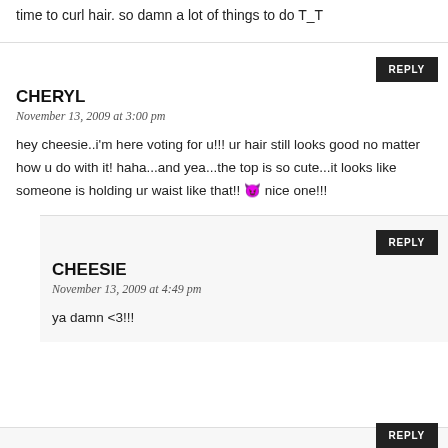time to curl hair. so damn a lot of things to do T_T
CHERYL
November 13, 2009 at 3:00 pm
hey cheesie..i'm here voting for u!!! ur hair still looks good no matter how u do with it! haha...and yea...the top is so cute...it looks like someone is holding ur waist like that!! 😈 nice one!!!
CHEESIE
November 13, 2009 at 4:49 pm
ya damn <3!!!